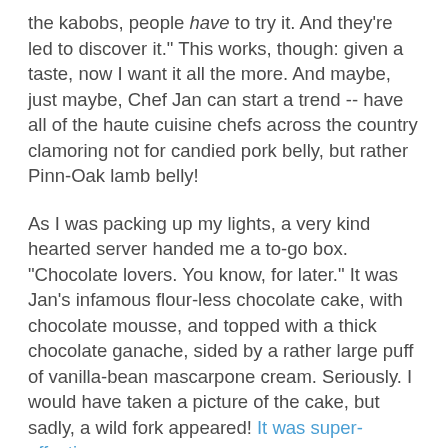the kabobs, people have to try it. And they're led to discover it." This works, though: given a taste, now I want it all the more. And maybe, just maybe, Chef Jan can start a trend -- have all of the haute cuisine chefs across the country clamoring not for candied pork belly, but rather Pinn-Oak lamb belly!
As I was packing up my lights, a very kind hearted server handed me a to-go box. "Chocolate lovers. You know, for later." It was Jan's infamous flour-less chocolate cake, with chocolate mousse, and topped with a thick chocolate ganache, sided by a rather large puff of vanilla-bean mascarpone cream. Seriously. I would have taken a picture of the cake, but sadly, a wild fork appeared! It was super-effective.
"I'm not a big chocolate freak," Jan confessed at the bar later. I looked at her as if she killed a Muppet. "It's just not my thing."
But this is why I love Chef Jan: we talked for almost two hours about, er, just about everything. Turns out, Chef Jan